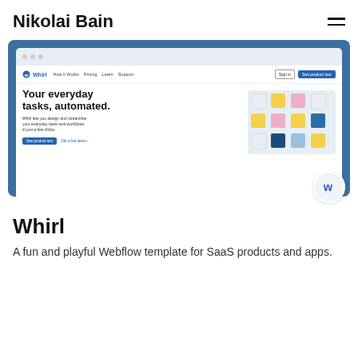Nikolai Bain
[Figure (screenshot): A browser mockup showing the Whirl website hero section. The page has a navy/blue background with a browser chrome. Inside: Whirl navigation bar with links (How it Works, Pricing, Learn, Support) and buttons (Sign in, See product tour). Hero headline reads 'Your everyday tasks, automated.' with subtext 'Whirl lets you design and streamline your everyday tasks and workflows in just a few clicks.' and two buttons. On the right is an illustration of hands arranging colorful sticky notes on a grid.]
Whirl
A fun and playful Webflow template for SaaS products and apps.